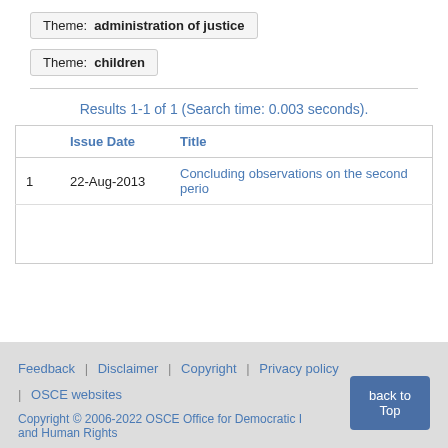Theme: administration of justice
Theme: children
Results 1-1 of 1 (Search time: 0.003 seconds).
|  | Issue Date | Title |
| --- | --- | --- |
| 1 | 22-Aug-2013 | Concluding observations on the second perio... |
Feedback | Disclaimer | Copyright | Privacy policy | OSCE websites
Copyright © 2006-2022 OSCE Office for Democratic I... and Human Rights